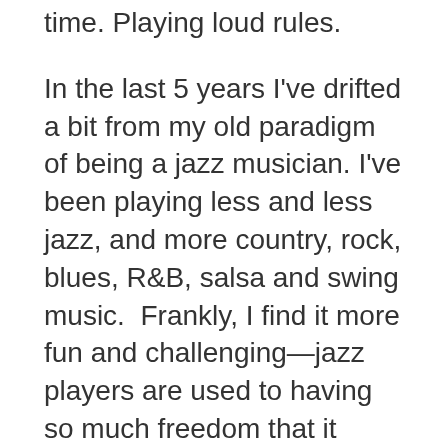time. Playing loud rules.
In the last 5 years I've drifted a bit from my old paradigm of being a jazz musician. I've been playing less and less jazz, and more country, rock, blues, R&B, salsa and swing music.  Frankly, I find it more fun and challenging—jazz players are used to having so much freedom that it actually becomes more of a challenge to play within the restrictions each style places on you. I find that really rewarding.  Playing a lot of notes is the easy way to impress someone.  Now I try to do it with half notes (except in my product demos, where I feel a certain obligation to be flashy!).